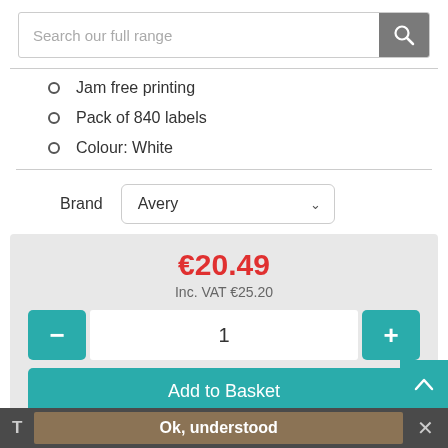Search our full range
Jam free printing
Pack of 840 labels
Colour: White
Brand  Avery
€20.49
Inc. VAT €25.20
1
Add to Basket
Alternative Products
T  Ok, understood  ✕